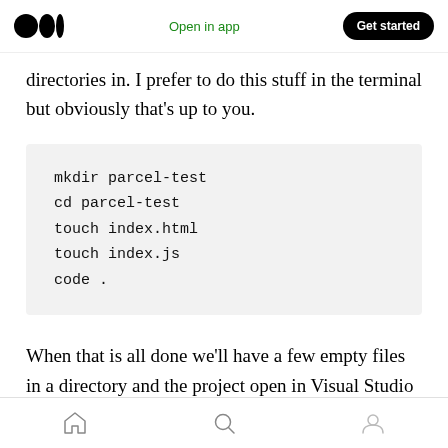Open in app | Get started
directories in. I prefer to do this stuff in the terminal but obviously that's up to you.
When that is all done we'll have a few empty files in a directory and the project open in Visual Studio Code and ready to go. Obviously if you